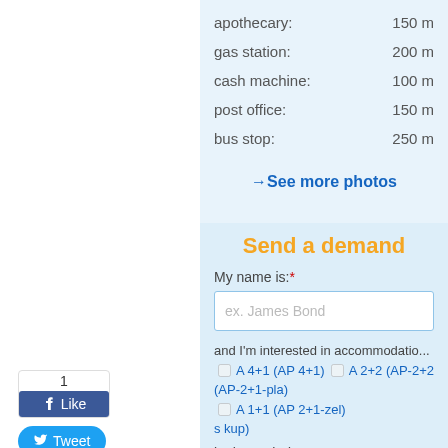apothecary: 150 m
gas station: 200 m
cash machine: 100 m
post office: 150 m
bus stop: 250 m
→ See more photos
Send a demand
My name is:*
ex. James Bond
and I'm interested in accommodation: □ A 4+1 (AP 4+1) □ A 2+2 (AP-2+2) (AP-2+1-pla) □ A 1+1 (AP 2+1-zel) s kup)
in the period: